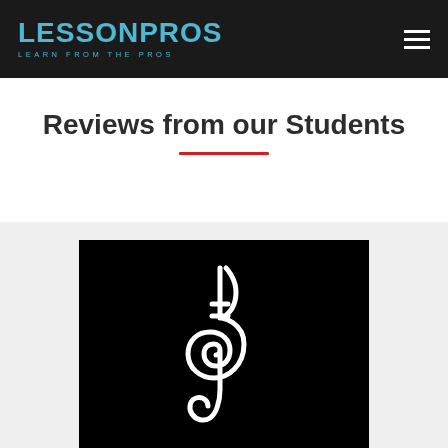LessonPros — Learn From The Pros
Reviews from our Students
[Figure (logo): LessonPros logo — white treble clef symbol on a black square background]